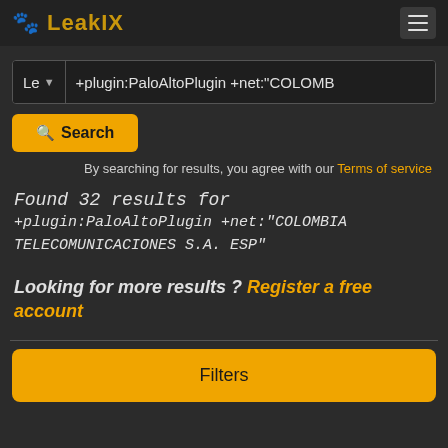LeakIX
Le  +plugin:PaloAltoPlugin +net:"COLOMB
Search
By searching for results, you agree with our Terms of service
Found 32 results for +plugin:PaloAltoPlugin +net:"COLOMBIA TELECOMUNICACIONES S.A. ESP"
Looking for more results ? Register a free account
Filters